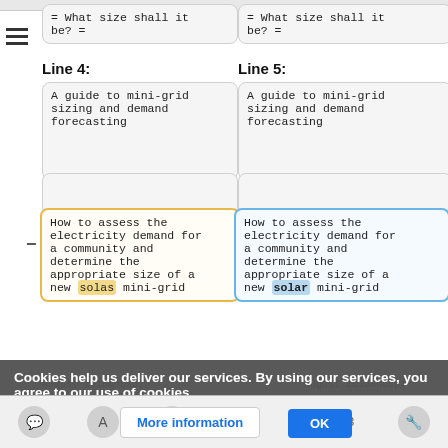= What size shall it be? =
= What size shall it be? =
Line 4:
Line 5:
A guide to mini-grid sizing and demand forecasting
A guide to mini-grid sizing and demand forecasting
How to assess the electricity demand for a community and determine the appropriate size of a new solas mini-grid
How to assess the electricity demand for a community and determine the appropriate size of a new solar mini-grid
Cookies help us deliver our services. By using our services, you agree to our use of cookies.
August 2016&nbsp;
August 2016&nbsp;